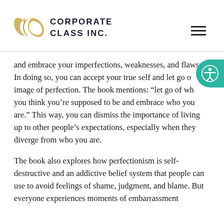[Figure (logo): Corporate Class Inc. logo with two overlapping C shapes in gold/tan color and bold company name text]
and embrace your imperfections, weaknesses, and flaws. In doing so, you can accept your true self and let go of the image of perfection. The book mentions: “let go of who you think you’re supposed to be and embrace who you are.” This way, you can dismiss the importance of living up to other people’s expectations, especially when they diverge from who you are.
The book also explores how perfectionism is self-destructive and an addictive belief system that people can use to avoid feelings of shame, judgment, and blame. But everyone experiences moments of embarrassment and discomfort. When we have the courage to own the